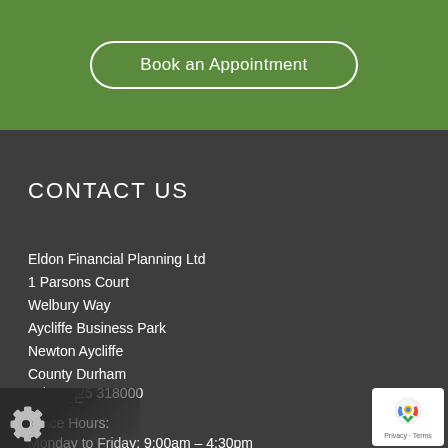[Figure (other): Green button area with 'Book an Appointment' button with white rounded border]
CONTACT US
Eldon Financial Planning Ltd
1 Parsons Court
Welbury Way
Aycliffe Business Park
Newton Aycliffe
County Durham
DL5 6ZE
Tel: 01325 318000
Office Hours:
Monday to Friday: 9:00am – 4:30pm